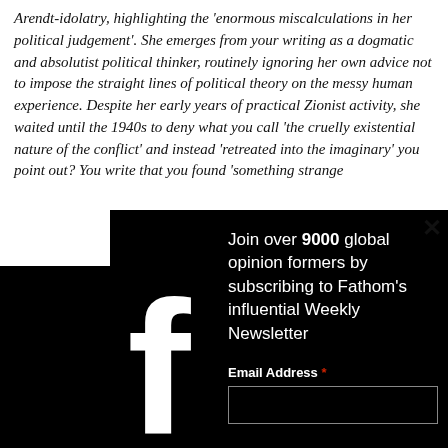Arendt-idolatry, highlighting the 'enormous miscalculations in her political judgement'. She emerges from your writing as a dogmatic and absolutist political thinker, routinely ignoring her own advice not to impose the straight lines of political theory on the messy human experience. Despite her early years of practical Zionist activity, she waited until the 1940s to deny what you call 'the cruelly existential nature of the conflict' and instead 'retreated into the imaginary' you point out? You write that you found 'something strange
SL: Ar admira thinki 1947-8 positio insiste She di some d she ha kibbu
[Figure (infographic): Dark modal popup overlay with Facebook logo on the left side. Modal contains text: 'Join over 9000 global opinion formers by subscribing to Fathom's influential Weekly Newsletter' with an Email Address field and a close X button in the top-right corner.]